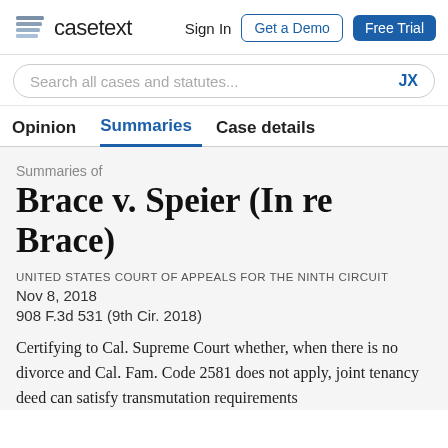casetext | Sign In | Get a Demo | Free Trial
Search all cases and statutes... JX
Opinion  Summaries  Case details
Summaries of
Brace v. Speier (In re Brace)
UNITED STATES COURT OF APPEALS FOR THE NINTH CIRCUIT
Nov 8, 2018
908 F.3d 531 (9th Cir. 2018)
Certifying to Cal. Supreme Court whether, when there is no divorce and Cal. Fam. Code 2581 does not apply, joint tenancy deed can satisfy transmutation requirements